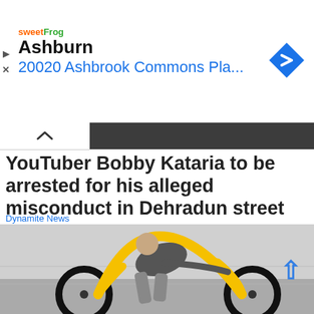[Figure (screenshot): Advertisement banner showing sweetFrog logo, 'Ashburn' heading, '20020 Ashbrook Commons Pla...' subtitle in blue, and a blue diamond navigation icon on the right]
YouTuber Bobby Kataria to be arrested for his alleged misconduct in Dehradun street
Dynamite News
[Figure (photo): Man riding a futuristic yellow bicycle with large wheels and an arched yellow frame, leaning forward aggressively, motion blur in background]